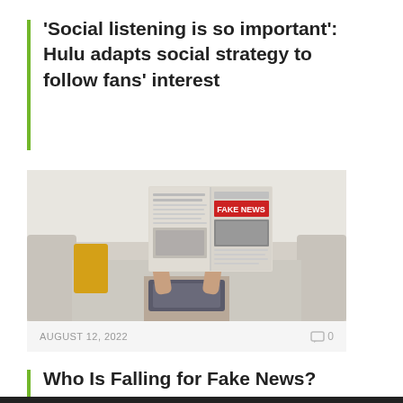'Social listening is so important': Hulu adapts social strategy to follow fans' interest
[Figure (photo): Person sitting on a couch holding up a newspaper with 'FAKE NEWS' headline printed on the front page, obscuring their face. Below the image: date AUGUST 12, 2022 and comment count 0.]
Who Is Falling for Fake News?
Comments are closed.